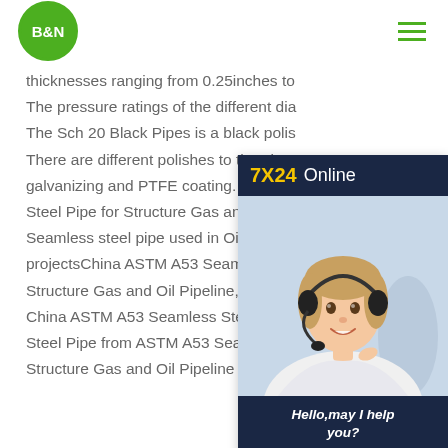B&N [logo] [hamburger menu]
thicknesses ranging from 0.25inches to
The pressure ratings of the different dia
The Sch 20 Black Pipes is a black polis
There are different polishes to the pipe
galvanizing and PTFE coating. ASTM A
Steel Pipe for Structure Gas and Oil AP
Seamless steel pipe used in Oil Water
projectsChina ASTM A53 Seamless St
Structure Gas and Oil Pipeline, Find details about China ASTM A53 Seamless Steel Pipe, Seamless Steel Pipe from ASTM A53 Seamless Steel Pipe for Structure Gas and Oil Pipeline
[Figure (other): 7X24 Online chat widget with a photo of a customer service representative wearing a headset, dark navy background header, 'Hello, may I help you?' text, and 'Get Latest Price' yellow button]